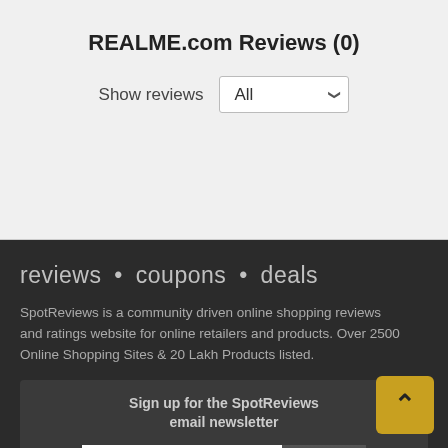REALME.com Reviews (0)
Show reviews
reviews • coupons • deals
SpotReviews is a community driven online shopping reviews and ratings website for online retailers and products. Over 2500 Online Shopping Sites & 20 Lakh Products listed.
Sign up for the SpotReviews email newsletter